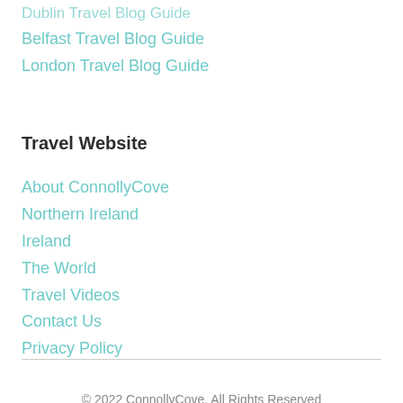Dublin Travel Blog Guide
Belfast Travel Blog Guide
London Travel Blog Guide
Travel Website
About ConnollyCove
Northern Ireland
Ireland
The World
Travel Videos
Contact Us
Privacy Policy
© 2022 ConnollyCove. All Rights Reserved